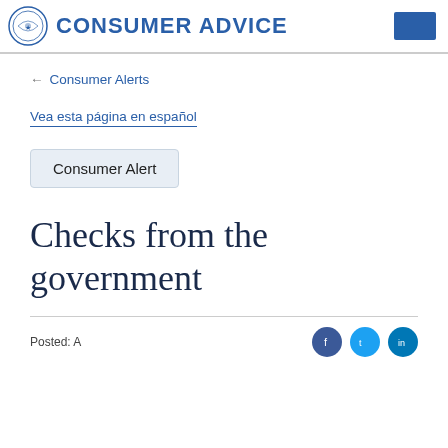CONSUMER ADVICE
← Consumer Alerts
Vea esta página en español
Consumer Alert
Checks from the government